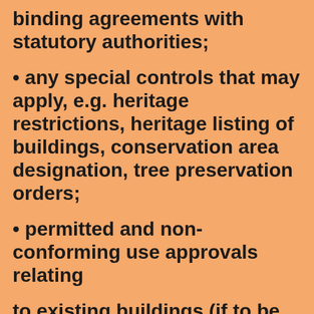binding agreements with statutory authorities;
• any special controls that may apply, e.g. heritage restrictions, heritage listing of buildings, conservation area designation, tree preservation orders;
• permitted and non-conforming use approvals relating
to existing buildings (if to be retained);
• environmental protection legislation (e.g. noise abatement, control of emissions, requirements for asbestos removal);